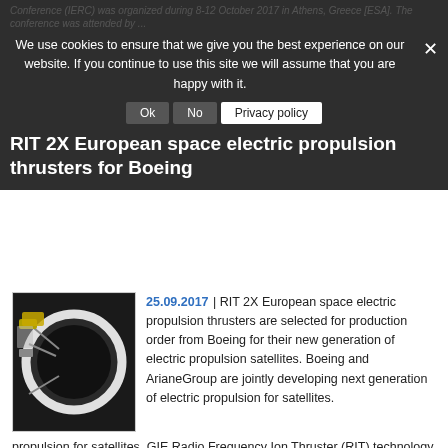We use cookies to ensure that we give you the best experience on our website. If you continue to use this site we will assume that you are happy with it. Ok No Privacy policy
RIT 2X European space electric propulsion thrusters for Boeing
25.09.2017 | RIT 2X European space electric propulsion thrusters are selected for production order from Boeing for their new generation of electric propulsion satellites. Boeing and ArianeGroup are jointly developing next generation of electric propulsion for satellites. GIE Radio Frequency Ion Thruster (RIT) technology will help to increase payload mass and reduce time to orbit for Boeing ... Read more »
European electric prolusion thrusters have been selected by Boeing for their commercial satellites
14.07.2017 | Safran Aircraft Engines and its